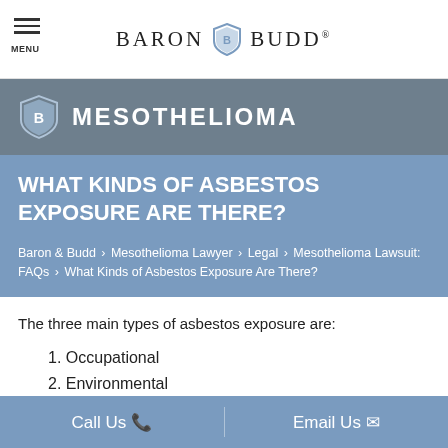MENU  BARON BUDD
MESOTHELIOMA
WHAT KINDS OF ASBESTOS EXPOSURE ARE THERE?
Baron & Budd > Mesothelioma Lawyer > Legal > Mesothelioma Lawsuit: FAQs > What Kinds of Asbestos Exposure Are There?
The three main types of asbestos exposure are:
1. Occupational
2. Environmental
3. Secondary (second hand)
Second-hand exposure occurs when the primary
Call Us   Email Us